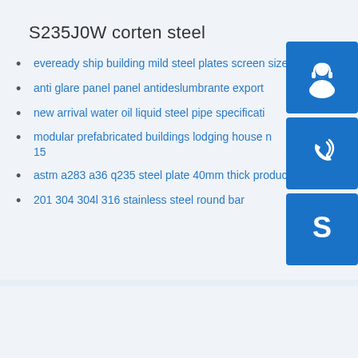S235J0W corten steel
eveready ship building mild steel plates screen size10
anti glare panel panel antideslumbrante export
new arrival water oil liquid steel pipe specificati
modular prefabricated buildings lodging house n 15
astm a283 a36 q235 steel plate 40mm thick producers
201 304 304l 316 stainless steel round bar
[Figure (infographic): Three blue icon buttons: headset/support icon, phone call icon, and Skype icon]